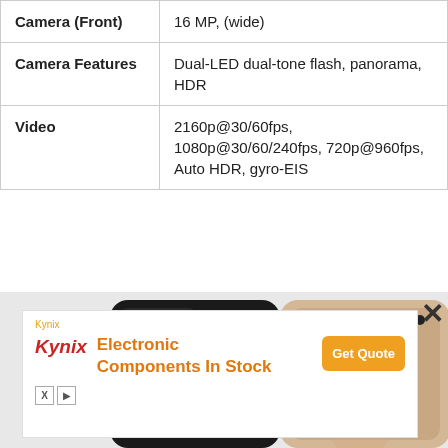| Camera (Front) | 16 MP, (wide) |
| Camera Features | Dual-LED dual-tone flash, panorama, HDR |
| Video | 2160p@30/60fps, 1080p@30/60/240fps, 720p@960fps, Auto HDR, gyro-EIS |
[Figure (photo): Smartphone shown from back and front side by side, black back with camera module on left, beige/gold front on right]
[Figure (screenshot): Advertisement banner for Kynix Electronic Components In Stock with Get Quote button, Kynix logo in red italic, text in orange]